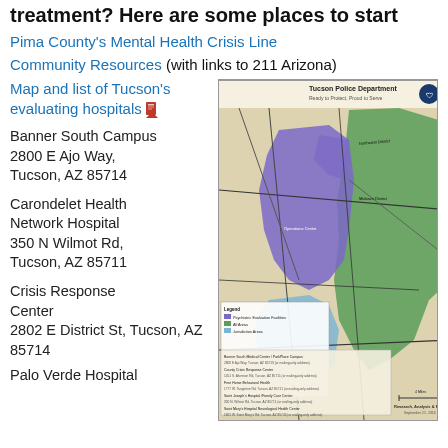treatment? Here are some places to start
Pima County's Mental Health Crisis Line
Community Resources (with links to 211 Arizona)
Map and list of Tucson's evaluating hospitals
Banner South Campus
2800 E Ajo Way, Tucson, AZ 85714
Carondelet Health Network Hospital
350 N Wilmot Rd, Tucson, AZ 85711
Crisis Response Center
2802 E District St, Tucson, AZ 85714
Palo Verde Hospital
[Figure (map): Tucson Police Department map showing evaluating hospital service areas with color-coded zones (purple, green, blue) and legend. Labeled 'Ready to Protect, Proud to Serve'. Research, Analysis & Planning, September 21, 2016.]